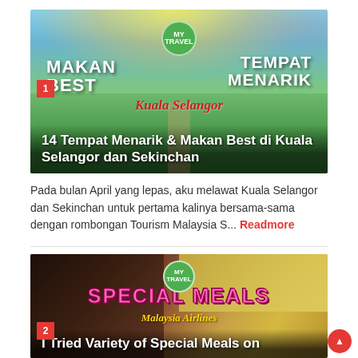[Figure (photo): Travel blog thumbnail showing rice paddy fields under blue sky, with text MAKAN BEST TEMPAT MENARIK and cursive overlay, number badge 1]
14 Tempat Menarik & Makan Best di Kuala Selangor dan Sekinchan
Pada bulan April yang lepas, aku melawat Kuala Selangor dan Sekinchan untuk pertama kalinya bersama-sama dengan rombongan Tourism Malaysia S... Readmore
[Figure (photo): Food blog thumbnail showing special airline meals with SPECIAL MEALS text in pink, Malaysia Airlines cursive, number badge 2]
I Tried Variety of Special Meals on